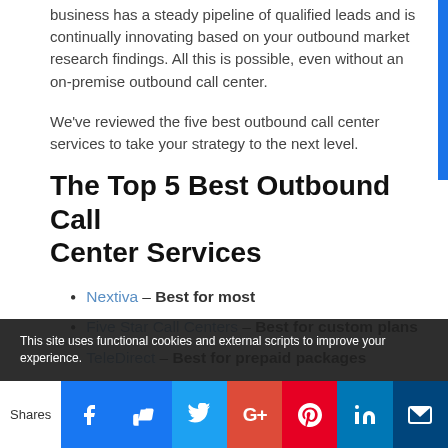business has a steady pipeline of qualified leads and is continually innovating based on your outbound market research findings. All this is possible, even without an on-premise outbound call center.
We've reviewed the five best outbound call center services to take your strategy to the next level.
The Top 5 Best Outbound Call Center Services
Nextiva – Best for most
Five Star Call Centers – Best for custom plans
TeleDirect – Best for prepaid packages
Signius Communications – Best for
This site uses functional cookies and external scripts to improve your experience.